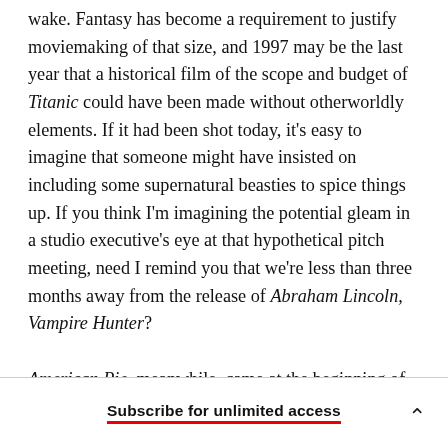wake. Fantasy has become a requirement to justify moviemaking of that size, and 1997 may be the last year that a historical film of the scope and budget of Titanic could have been made without otherworldly elements. If it had been shot today, it's easy to imagine that someone might have insisted on including some supernatural beasties to spice things up. If you think I'm imagining the potential gleam in a studio executive's eye at that hypothetical pitch meeting, need I remind you that we're less than three months away from the release of Abraham Lincoln, Vampire Hunter?

American Pie, meanwhile, came at the beginning of
Subscribe for unlimited access